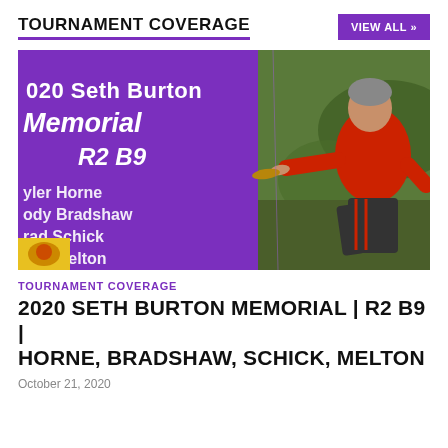TOURNAMENT COVERAGE
VIEW ALL »
[Figure (photo): Thumbnail image for 2020 Seth Burton Memorial disc golf tournament coverage. Left side shows a purple graphic overlay with white text listing: 2020 Seth Burton Memorial R2 B9, Tyler Horne, Cody Bradshaw, Brad Schick, Zach Melton. Right side shows a man in a red polo shirt releasing a disc golf disc outdoors.]
TOURNAMENT COVERAGE
2020 SETH BURTON MEMORIAL | R2 B9 | HORNE, BRADSHAW, SCHICK, MELTON
October 21, 2020